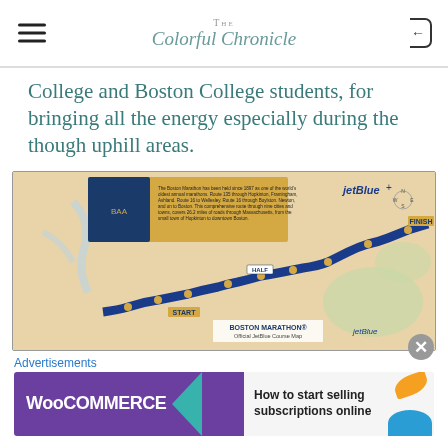The Colorful Chronicle
College and Boston College students, for bringing all the energy especially during the though uphill areas.
[Figure (map): Boston Marathon Official JetBlue Course Map showing the full marathon route from START to FINISH, with landmarks and mile markers indicated along a winding blue path through Massachusetts towns.]
Advertisements
[Figure (screenshot): WooCommerce advertisement banner: 'How to start selling subscriptions online']